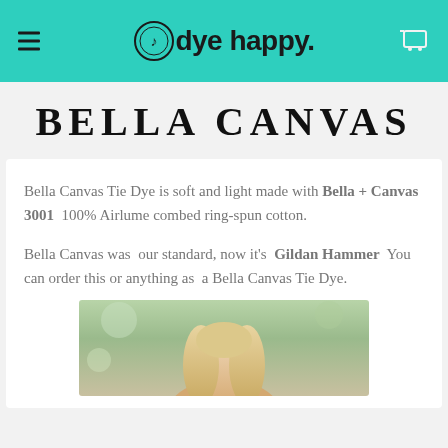dye happy. [logo with hamburger menu and cart icon]
BELLA CANVAS
Bella Canvas Tie Dye is soft and light made with Bella + Canvas 3001  100% Airlume combed ring-spun cotton.
Bella Canvas was  our standard, now it's  Gildan Hammer  You can order this or anything as  a Bella Canvas Tie Dye.
[Figure (photo): Photo of a person with blonde wavy hair, outdoors with blurred green background]